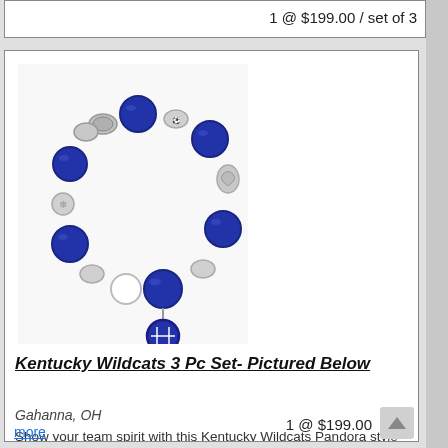1 @ $199.00 / set of 3
[Figure (photo): A Kentucky Wildcats Pandora-style charm bracelet with blue and white beads, silver football spacers, and a dangling blue circular charm.]
Kentucky Wildcats 3 Pc Set- Pictured Below
Gahanna, OH
Show your team spirit with this Kentucky Wildcats Pandora style 3 Piece set. It comes complete with football spacers and a dangling charm. Makes great gifts. I can also custom make any team - just ...
more
1 @ $199.00